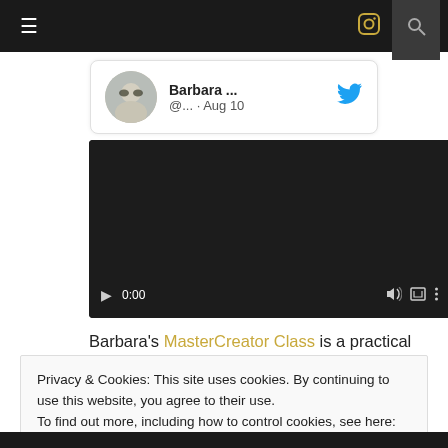Navigation bar with hamburger menu, Instagram icon, and search icon
[Figure (screenshot): Twitter card showing Barbara profile photo, name 'Barbara ...', handle '@... · Aug 10', and Twitter bird logo]
[Figure (screenshot): HTML5 video player showing dark background, play button, time 0:00, volume icon, fullscreen icon, options icon, and progress bar]
Barbara's MasterCreator Class is a practical guide and journey for you to experience your
Privacy & Cookies: This site uses cookies. By continuing to use this website, you agree to their use.
To find out more, including how to control cookies, see here: Cookie Policy
Close and accept